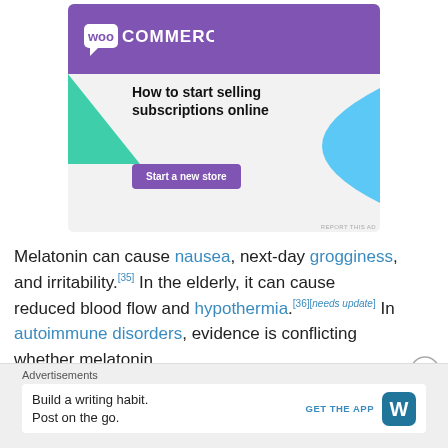[Figure (screenshot): WooCommerce advertisement banner with purple header, WooCommerce logo, tagline 'How to start selling subscriptions online', and 'Start a new store' button]
Melatonin can cause nausea, next-day grogginess, and irritability.[35] In the elderly, it can cause reduced blood flow and hypothermia.[36][needs update] In autoimmune disorders, evidence is conflicting whether melatonin
[Figure (screenshot): Advertisements section with WordPress app ad: 'Build a writing habit. Post on the go.' with GET THE APP button and WordPress logo]